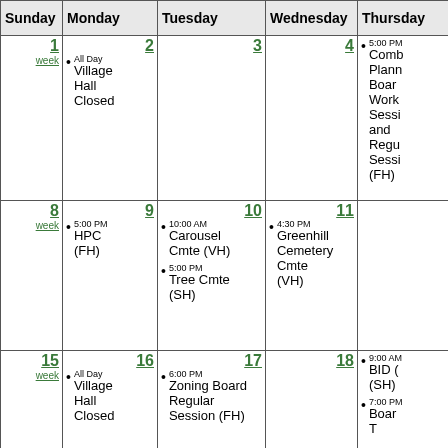| Sunday | Monday | Tuesday | Wednesday | Thursday |
| --- | --- | --- | --- | --- |
| 1
week | 2
All Day
Village Hall Closed | 3 | 4 | 5:00 PM
Combined Planning Board Work Session and Regular Session (FH) |
| 8
week | 9
5:00 PM
HPC (FH) | 10
10:00 AM
Carousel Cmte (VH)
5:00 PM
Tree Cmte (SH) | 11
4:30 PM
Greenhill Cemetery Cmte (VH) |  |
| 15
week | 16
All Day
Village Hall Closed | 17
6:00 PM
Zoning Board Regular Session (FH) | 18 | 9:00 AM
BID (SH)
7:00 PM
Board T... |